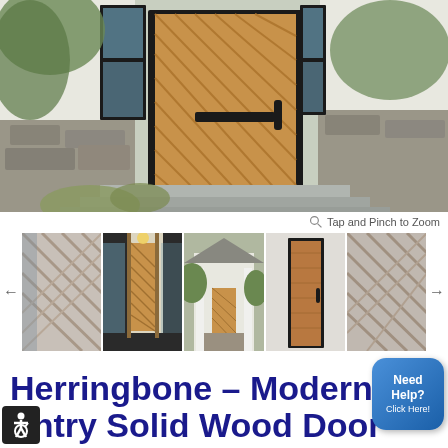[Figure (photo): Large hero photo of a modern house entry with a herringbone patterned solid wood door with black frame, stone facade, and landscaping]
Tap and Pinch to Zoom
[Figure (photo): Thumbnail strip showing 5 images of various herringbone wood doors and entry views with navigation arrows on each side]
Herringbone – Modern Entry Solid Wood Door